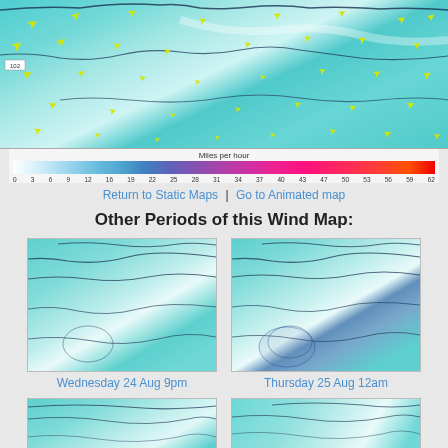[Figure (map): Wind map showing wind speed and direction over a coastal region with yellow wind arrows on a teal background, with a color scale bar showing Miles per hour from 0 to 62]
Return to Static Maps | Go to Animated map
Other Periods of this Wind Map:
[Figure (map): Thumbnail wind map for Wednesday 24 Aug 9pm]
Wednesday 24 Aug 9pm
[Figure (map): Thumbnail wind map for Thursday 25 Aug 12am]
Thursday 25 Aug 12am
[Figure (map): Thumbnail wind map partial view bottom left]
[Figure (map): Thumbnail wind map partial view bottom right]